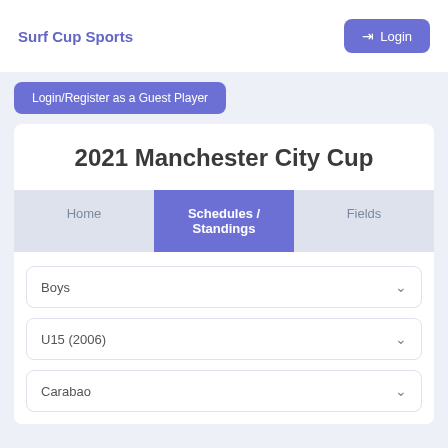Surf Cup Sports
Login
Login/Register as a Guest Player
2021 Manchester City Cup
Home | Schedules / Standings | Fields
Boys
U15 (2006)
Carabao